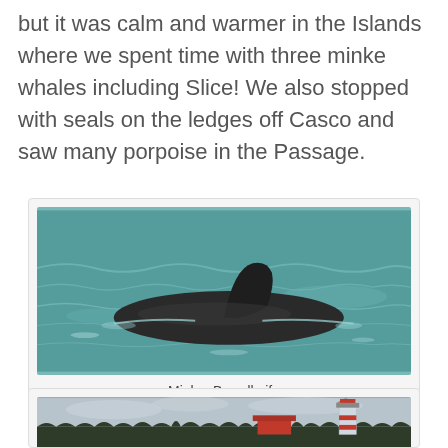but it was calm and warmer in the Islands where we spent time with three minke whales including Slice! We also stopped with seals on the ledges off Casco and saw many porpoise in the Passage.
[Figure (photo): A minke whale dorsal fin breaking the surface of choppy teal ocean water, viewed from a boat.]
Minke, Breadknife
[Figure (photo): A lighthouse with red and white coloring visible above a treeline under a grey sky, with a red-roofed building nearby.]